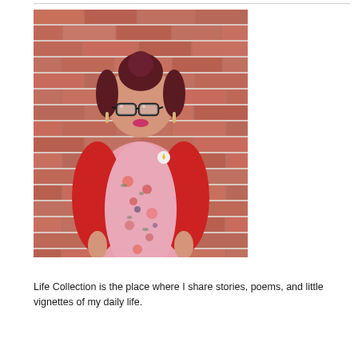[Figure (photo): A woman with dark red hair in a bun, wearing black glasses, a pink floral dress and a red cardigan, standing in front of a brick wall.]
Life Collection is the place where I share stories, poems, and little vignettes of my daily life.